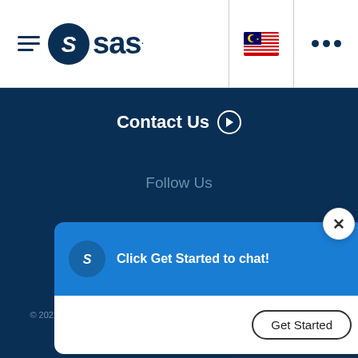[Figure (logo): SAS logo with hamburger menu icon in header]
[Figure (photo): Malaysian flag icon in header]
Contact Us ❯
Follow Us
[Figure (screenshot): SAS chat popup with 'Click Get Started to chat!' message and 'Get Started' button]
Terms of Use
© 2022 SAS Institute Inc. All Rights Reserved.